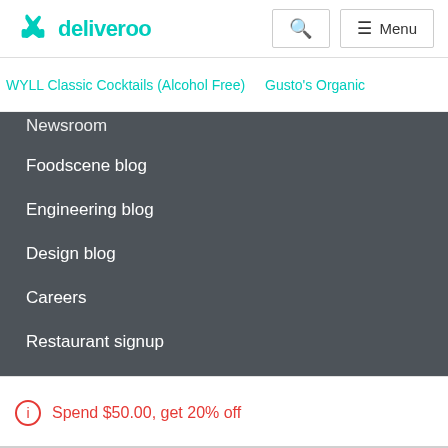deliveroo
WYLL Classic Cocktails (Alcohol Free)   Gusto's Organic
Newsroom
Foodscene blog
Engineering blog
Design blog
Careers
Restaurant signup
Become a rider
Spend $50.00, get 20% off